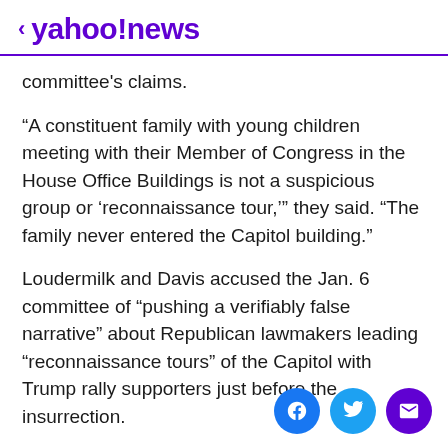< yahoo!news
committee's claims.
“A constituent family with young children meeting with their Member of Congress in the House Office Buildings is not a suspicious group or ‘reconnaissance tour,’” they said. “The family never entered the Capitol building.”
Loudermilk and Davis accused the Jan. 6 committee of “pushing a verifiably false narrative” about Republican lawmakers leading “reconnaissance tours” of the Capitol with Trump rally supporters just before the insurrection.
“No place that the family went on the 5th was breached on the 6th, the family did not enter the Capitol grounds